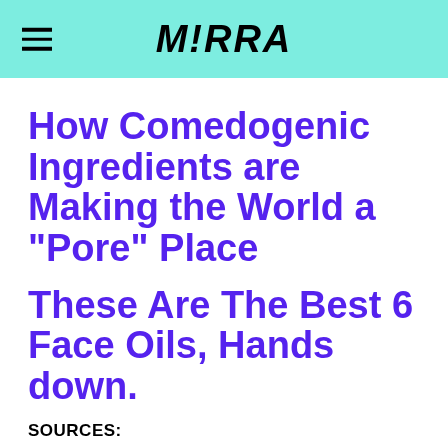M!RRA
How Comedogenic Ingredients are Making the World a "Pore" Place
These Are The Best 6 Face Oils, Hands down.
SOURCES:
https://fiftyshadesofsnail.com/2015/03/28/how-to-shrink-pores-temporarily-plus-3-pore